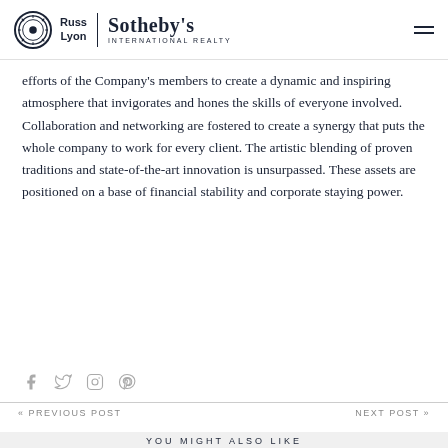Russ Lyon | Sotheby's International Realty
efforts of the Company's members to create a dynamic and inspiring atmosphere that invigorates and hones the skills of everyone involved. Collaboration and networking are fostered to create a synergy that puts the whole company to work for every client. The artistic blending of proven traditions and state-of-the-art innovation is unsurpassed. These assets are positioned on a base of financial stability and corporate staying power.
[Figure (other): Social media icons: Facebook, Twitter, Instagram, Pinterest]
« PREVIOUS POST    NEXT POST »
YOU MIGHT ALSO LIKE